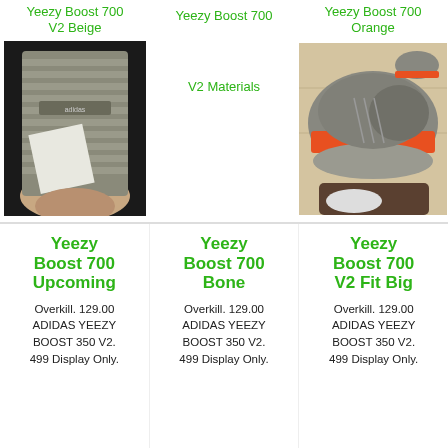Yeezy Boost 700 V2 Beige
[Figure (photo): Close-up photo of sole/bottom of Yeezy Boost 700 V2 Beige sneaker being held]
Yeezy Boost 700
V2 Materials
Yeezy Boost 700 Orange
[Figure (photo): Photo of Yeezy Boost 700 Orange sneakers being held, showing grey and orange coloring]
Yeezy Boost 700 Upcoming
Overkill. 129.00 ADIDAS YEEZY BOOST 350 V2. 499 Display Only.
Yeezy Boost 700 Bone
Overkill. 129.00 ADIDAS YEEZY BOOST 350 V2. 499 Display Only.
Yeezy Boost 700 V2 Fit Big
Overkill. 129.00 ADIDAS YEEZY BOOST 350 V2. 499 Display Only.